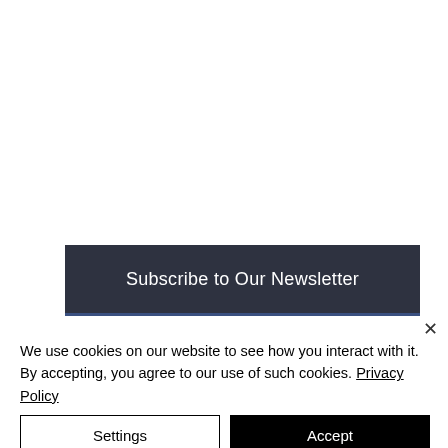[Figure (screenshot): Dark banner with text 'Subscribe to Our Newsletter' on a dark navy/charcoal background with a blue bottom border]
×
We use cookies on our website to see how you interact with it. By accepting, you agree to our use of such cookies. Privacy Policy
Settings
Accept